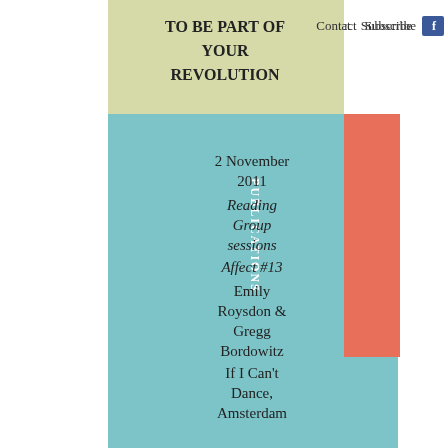TO BE PART OF YOUR REVOLUTION
Contact   Subscribe
PUBLICATIONS
2 November 2011
Reading Group sessions
Affect #13
Emily Roysdon & Gregg Bordowitz
If I Can't Dance, Amsterdam
EDITIONS
PERFORMANCE
28 – 29 October 2011
AGENDA